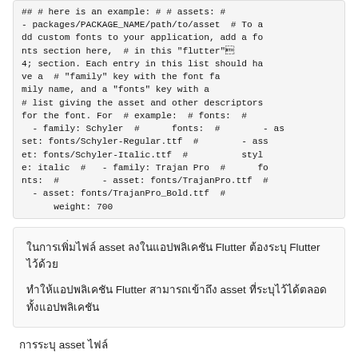## # here is an example: # # assets: # - packages/PACKAGE_NAME/path/to/asset  # To add custom fonts to your application, add a fonts section here,  # in this &#34;flutter&#34; section. Each entry in this list should have a  # &#34;family&#34; key with the font family name, and a &#34;fonts&#34; key with a # list giving the asset and other descriptors for the font. For  # example:  # fonts:  #   - family: Schyler  #      fonts:  #        - asset: fonts/Schyler-Regular.ttf  #        - asset: fonts/Schyler-Italic.ttf  #          style: italic  #   - family: Trajan Pro  #      fonts:  #        - asset: fonts/TrajanPro.ttf  #        - asset: fonts/TrajanPro_Bold.ttf  #          weight: 700
ในการเพิ่มไฟล์ asset ลงในแอปพลิเคชัน Flutter ต้องระบุ Flutter ไว้ด้วย

ทำให้แอปพลิเคชัน Flutter สามารถเข้าถึง asset ที่ระบุไว้ได้ตลอดทั้งแอปพลิเคชัน
การระบุ asset ไฟล์